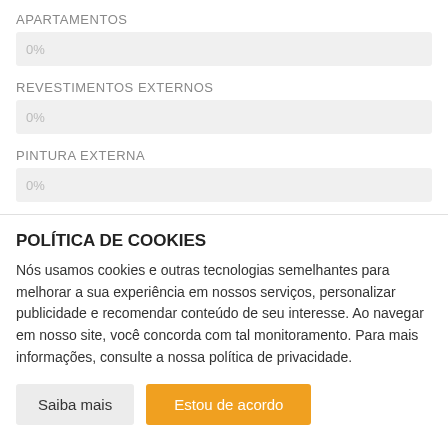APARTAMENTOS
0%
REVESTIMENTOS EXTERNOS
0%
PINTURA EXTERNA
0%
POLÍTICA DE COOKIES
Nós usamos cookies e outras tecnologias semelhantes para melhorar a sua experiência em nossos serviços, personalizar publicidade e recomendar conteúdo de seu interesse. Ao navegar em nosso site, você concorda com tal monitoramento. Para mais informações, consulte a nossa política de privacidade.
Saiba mais
Estou de acordo